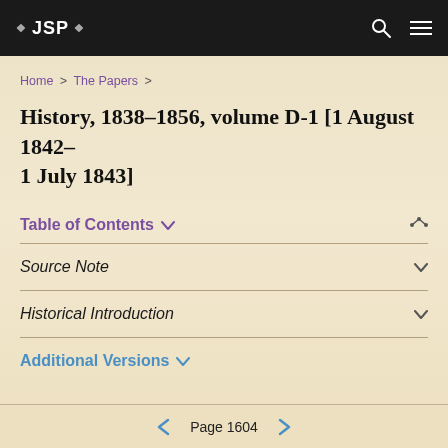❖ JSP ❖
Home > The Papers >
History, 1838–1856, volume D-1 [1 August 1842–1 July 1843]
Table of Contents ∨
Source Note ∨
Historical Introduction ∨
Additional Versions ∨
← Page 1604 →